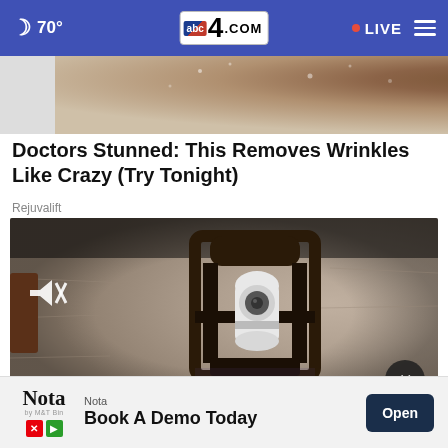🌙 70°  abc4.com  • LIVE ≡
[Figure (photo): Partial cropped top image showing dark brown textured surface, possibly hair or soil with water droplets]
Doctors Stunned: This Removes Wrinkles Like Crazy (Try Tonight)
Rejuvalift
[Figure (screenshot): Video player showing a close-up of a wall lantern light fixture mounted on textured stone wall, with a white smart home camera device inside the lantern frame. Mute icon visible in top-left. X close button in bottom-right.]
[Figure (other): Bottom advertisement banner: Nota logo with 'Book A Demo Today' text and Open button]